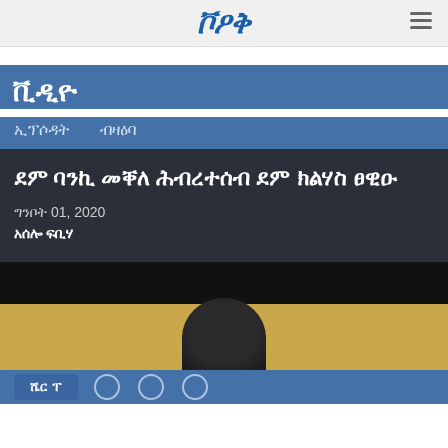VOA
ቪዲዮ
ኢፕሶዳት
ብዛዕባ
ደም ባንኪ መቐለ ሕብረተሰብ ደም ክልሃስ ፀዊዑ
ግንቦት 01, 2020
አሰሎ ፍቢሃ
[Figure (photo): Video thumbnail showing a person's head silhouette against a golden background with black top bar]